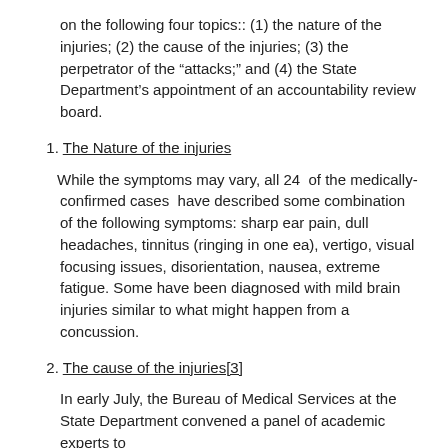on the following four topics:: (1) the nature of the injuries; (2) the cause of the injuries; (3) the perpetrator of the “attacks;” and (4) the State Department’s appointment of an accountability review board.
1. The Nature of the injuries
While the symptoms may vary, all 24  of the medically-confirmed cases  have described some combination of the following symptoms: sharp ear pain, dull headaches, tinnitus (ringing in one ea), vertigo, visual focusing issues, disorientation, nausea, extreme fatigue. Some have been diagnosed with mild brain injuries similar to what might happen from a concussion.
2. The cause of the injuries[3]
In early July, the Bureau of Medical Services at the State Department convened a panel of academic experts to